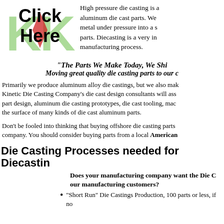[Figure (logo): KDK logo in green with red arrow, overlaid with bold black Click Here text]
High pressure die casting is a process for aluminum die cast parts. We inject molten metal under pressure into a steel die to produce parts. Diecasting is a very inexpensive manufacturing process.
"The Parts We Make Today, We Shi... Moving great quality die casting parts to our c...
Primarily we produce aluminum alloy die castings, but we also mak... Kinetic Die Casting Company's die cast design consultants will ass... part design, aluminum die casting prototypes, die cast tooling, mac... the surface of many kinds of die cast aluminum parts.
Don't be fooled into thinking that buying offshore die casting parts ... company. You should consider buying parts from a local American...
Die Casting Processes needed for Diecastin...
Does your manufacturing company want the Die C... our manufacturing customers?
"Short Run" Die Castings Production, 100 parts or less, if no...